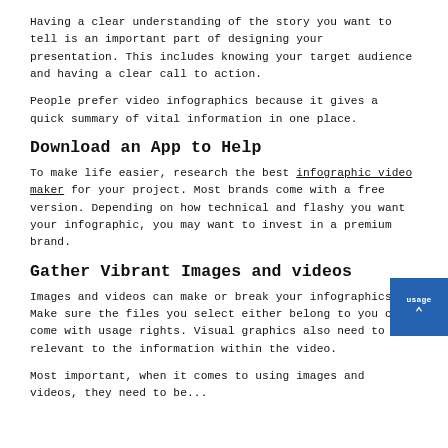Having a clear understanding of the story you want to tell is an important part of designing your presentation. This includes knowing your target audience and having a clear call to action.
People prefer video infographics because it gives a quick summary of vital information in one place.
Download an App to Help
To make life easier, research the best infographic video maker for your project. Most brands come with a free version. Depending on how technical and flashy you want your infographic, you may want to invest in a premium brand.
Gather Vibrant Images and videos
Images and videos can make or break your infographics. Make sure the files you select either belong to you or come with usage rights. Visual graphics also need to be relevant to the information within the video.
Most important, when it comes to using images and videos, they need to be...